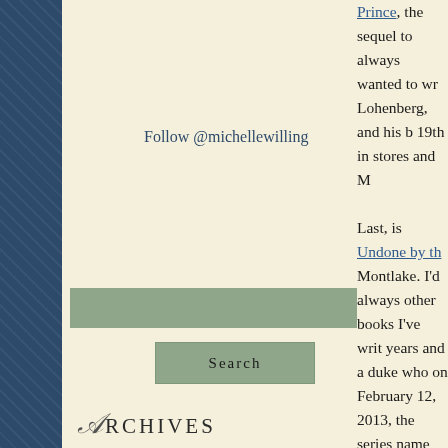Follow @michellewilling
Search
Archives
Select Month
Prince, the sequel to always wanted to wr Lohenberg, and his b 19th in stores and M
Last, is Undone by th Montlake. I'd always other books I've writ years and a duke who on February 12, 2013, the series name Secr
At the moment, I am the Rebel, book two MacKinloch (tentati anthology, available next September 2013
The family is doing w